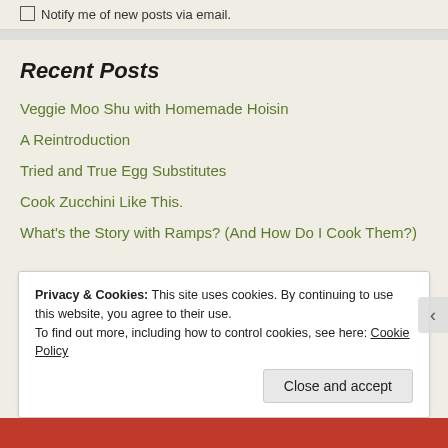Notify me of new posts via email.
Recent Posts
Veggie Moo Shu with Homemade Hoisin
A Reintroduction
Tried and True Egg Substitutes
Cook Zucchini Like This.
What's the Story with Ramps? (And How Do I Cook Them?)
Privacy & Cookies: This site uses cookies. By continuing to use this website, you agree to their use. To find out more, including how to control cookies, see here: Cookie Policy
Close and accept